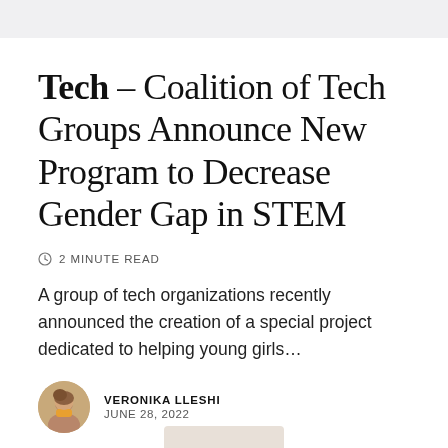Tech – Coalition of Tech Groups Announce New Program to Decrease Gender Gap in STEM
2 MINUTE READ
A group of tech organizations recently announced the creation of a special project dedicated to helping young girls…
VERONIKA LLESHI
JUNE 28, 2022